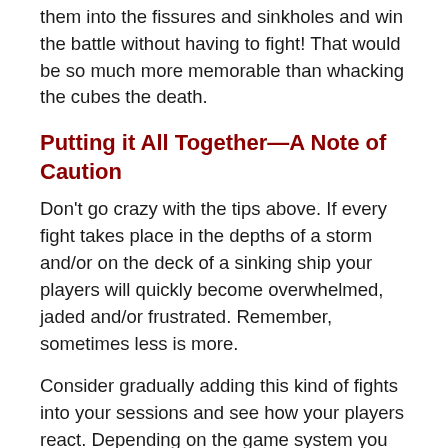them into the fissures and sinkholes and win the battle without having to fight! That would be so much more memorable than whacking the cubes the death.
Putting it All Together—A Note of Caution
Don't go crazy with the tips above. If every fight takes place in the depths of a storm and/or on the deck of a sinking ship your players will quickly become overwhelmed, jaded and/or frustrated. Remember, sometimes less is more.
Consider gradually adding this kind of fights into your sessions and see how your players react. Depending on the game system you use, the PCs might need to invest in particular skills (in Pathfinder—Acrobatics, Swim and Climb being the chief targets) or feats (Nimble Step and so on) to take advantage of a dynamic battlefield. Give them